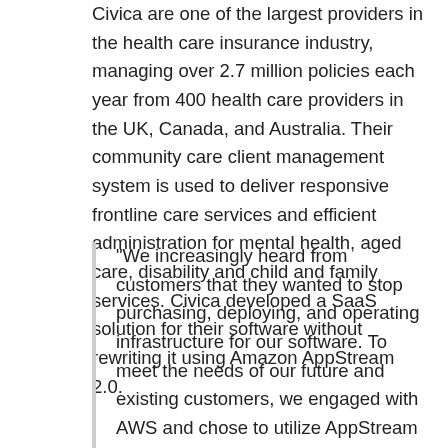Civica are one of the largest providers in the health care insurance industry, managing over 2.7 million policies each year from 400 health care providers in the UK, Canada, and Australia. Their community care client management system is used to deliver responsive frontline care services and efficient administration for mental health, aged care, disability and child and family services. Civica developed a SaaS solution for their software without rewriting it using Amazon AppStream 2.0.
"We increasingly heard from customers that they wanted to stop purchasing, deploying, and operating infrastructure for our software. To meet the needs of our future and existing customers, we engaged with AWS and chose to utilize AppStream 2.0. With AppStream 2.0, we can deploy a full SaaS solution without rewriting it and now customers can start using our software in days instead of months without operating any infrastructure."